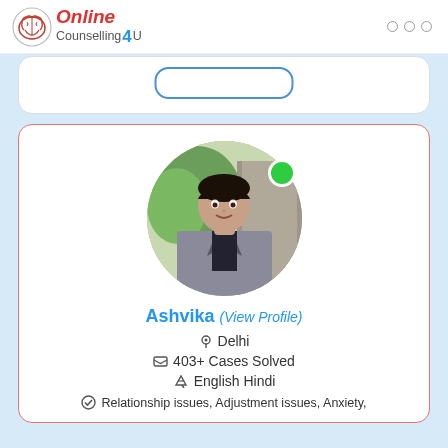[Figure (logo): Online Counselling 4U logo with brain icon]
[Figure (photo): Profile photo of Ashvika, a young woman in grey blazer, circular cropped with green online status dot]
Ashvika (View Profile)
Delhi
403+ Cases Solved
English Hindi
Relationship issues, Adjustment issues, Anxiety,